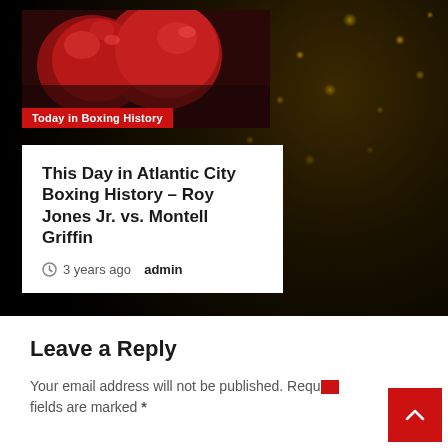[Figure (photo): Boxing gloves photo with red label overlay reading 'Today in Boxing History']
Today in Boxing History
This Day in Atlantic City Boxing History – Roy Jones Jr. vs. Montell Griffin
3 years ago  admin
Leave a Reply
Your email address will not be published. Required fields are marked *